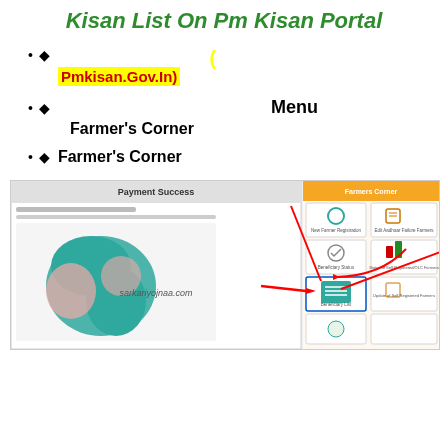Kisan List On Pm Kisan Portal
◆ (Pmkisan.Gov.In)
◆ Menu Farmer's Corner
◆ Farmer's Corner
[Figure (screenshot): Screenshot of PM Kisan portal showing Payment Success page with map of India and Farmers Corner section with icons including Beneficiary List highlighted]